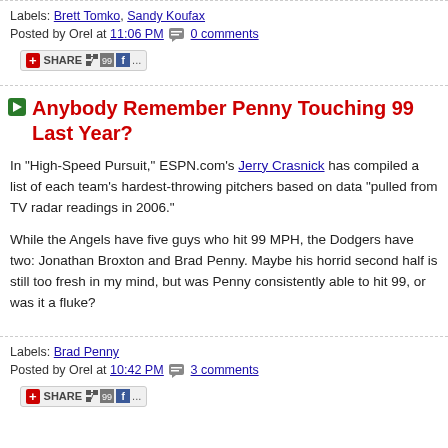Labels: Brett Tomko, Sandy Koufax
Posted by Orel at 11:06 PM  0 comments
[Figure (other): Share button bar with plus icon, share text, and social media icons]
Anybody Remember Penny Touching 99 Last Year?
In "High-Speed Pursuit," ESPN.com's Jerry Crasnick has compiled a list of each team's hardest-throwing pitchers based on data "pulled from TV radar readings in 2006."
While the Angels have five guys who hit 99 MPH, the Dodgers have two: Jonathan Broxton and Brad Penny. Maybe his horrid second half is still too fresh in my mind, but was Penny consistently able to hit 99, or was it a fluke?
Labels: Brad Penny
Posted by Orel at 10:42 PM  3 comments
[Figure (other): Share button bar with plus icon, share text, and social media icons]